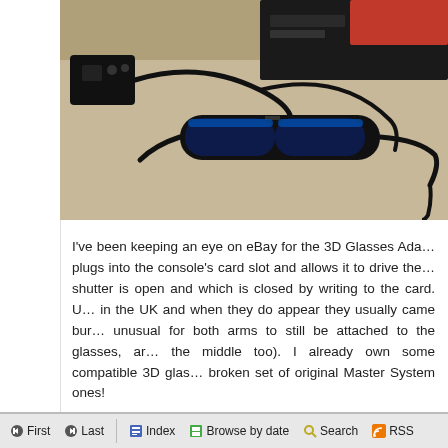[Figure (photo): Photo of a Sega Master System console with 3D glasses adapter, controller, cable, and 3D shutter glasses on a beige/tan surface]
I've been keeping an eye on eBay for the 3D Glasses Ada... plugs into the console's card slot and allows it to drive the... shutter is open and which is closed by writing to the card. U... in the UK and when they do appear they usually came bur... unusual for both arms to still be attached to the glasses, ar... the middle too). I already own some compatible 3D glas... broken set of original Master System ones!
First  Last    Index  Browse by date  Search  RSS